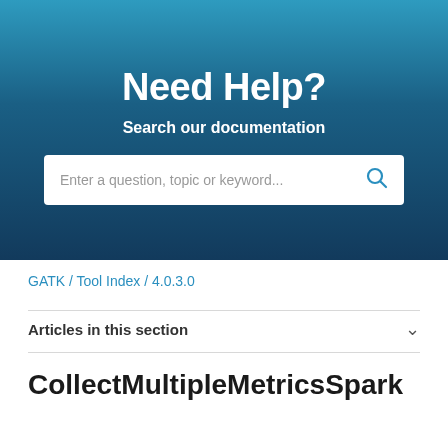Need Help?
Search our documentation
Enter a question, topic or keyword...
GATK / Tool Index / 4.0.3.0
Articles in this section
CollectMultipleMetricsSpark (BETA)